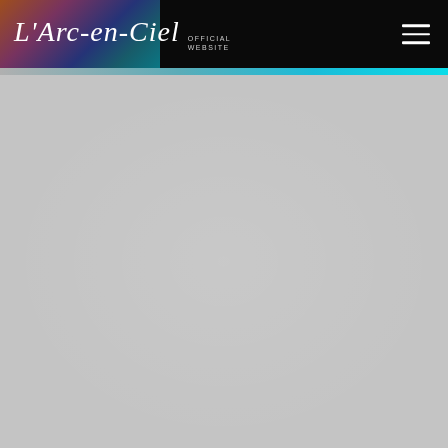L'Arc-en-Ciel OFFICIAL WEBSITE
[Figure (other): Gray content area below the navigation header, representing the body of the L'Arc-en-Ciel official website page.]